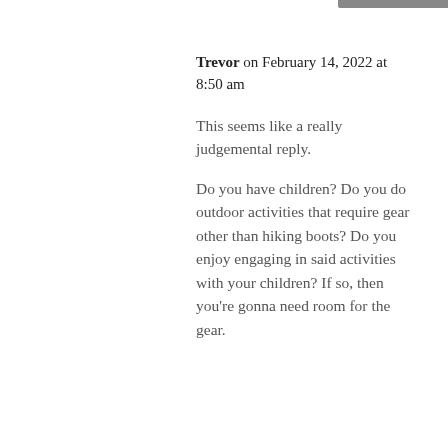Trevor on February 14, 2022 at 8:50 am
This seems like a really judgemental reply.
Do you have children? Do you do outdoor activities that require gear other than hiking boots? Do you enjoy engaging in said activities with your children? If so, then you're gonna need room for the gear.